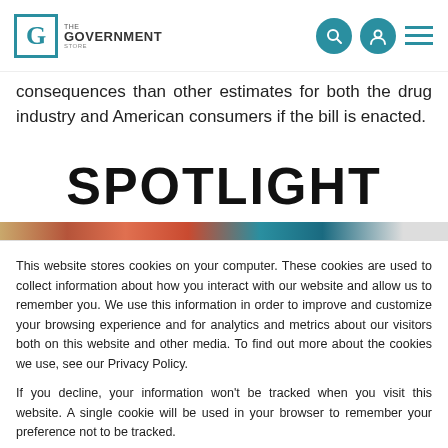[Figure (logo): The Government Store logo: a square icon with letter G in teal, and text 'The Government Store' beside it]
consequences than other estimates for both the drug industry and American consumers if the bill is enacted.
SPOTLIGHT
This website stores cookies on your computer. These cookies are used to collect information about how you interact with our website and allow us to remember you. We use this information in order to improve and customize your browsing experience and for analytics and metrics about our visitors both on this website and other media. To find out more about the cookies we use, see our Privacy Policy.
If you decline, your information won't be tracked when you visit this website. A single cookie will be used in your browser to remember your preference not to be tracked.